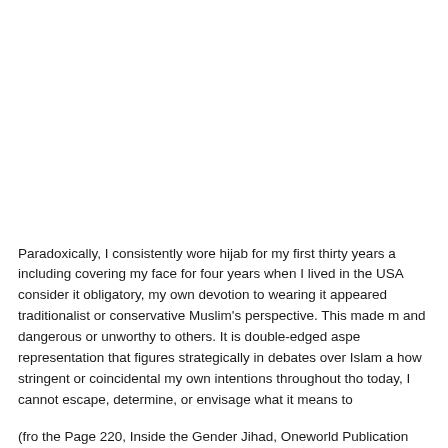Paradoxically, I consistently wore hijab for my first thirty years a including covering my face for four years when I lived in the USA consider it obligatory, my own devotion to wearing it appeared traditionalist or conservative Muslim's perspective. This made m and dangerous or unworthy to others. It is double-edged aspe representation that figures strategically in debates over Islam a how stringent or coincidental my own intentions throughout tho today, I cannot escape, determine, or envisage what it means to
(fro the Page 220, Inside the Gender Jihad, Oneworld Publication http://www.oneworld-publications.com/authors/amina-wadud